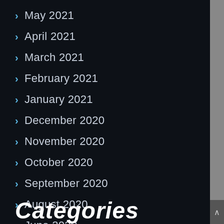May 2021
April 2021
March 2021
February 2021
January 2021
December 2020
November 2020
October 2020
September 2020
August 2020
June 2020
August 2019
Categories